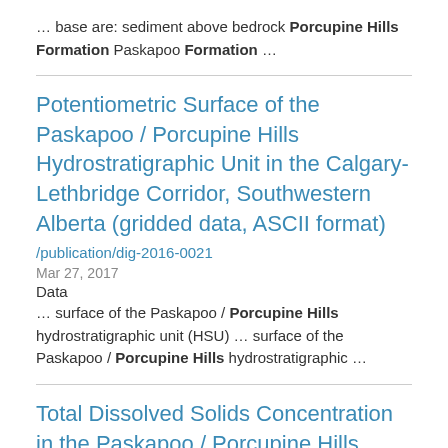… base are: sediment above bedrock Porcupine Hills Formation Paskapoo Formation …
Potentiometric Surface of the Paskapoo / Porcupine Hills Hydrostratigraphic Unit in the Calgary-Lethbridge Corridor, Southwestern Alberta (gridded data, ASCII format)
/publication/dig-2016-0021
Mar 27, 2017
Data
… surface of the Paskapoo / Porcupine Hills hydrostratigraphic unit (HSU) … surface of the Paskapoo / Porcupine Hills hydrostratigraphic …
Total Dissolved Solids Concentration in the Paskapoo / Porcupine Hills Hydrostratigraphic Unit in the Calgary-Lethbridge Corridor (gridded data, ASCII format)